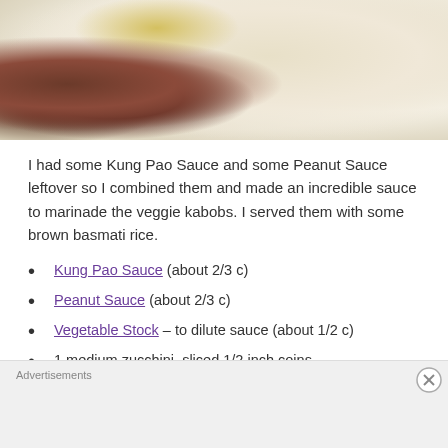[Figure (photo): Top portion of a food photo showing rice dish with vegetables and dates/figs]
I had some Kung Pao Sauce and some Peanut Sauce leftover so I combined them and made an incredible sauce to marinade the veggie kabobs. I served them with some brown basmati rice.
Kung Pao Sauce (about 2/3 c)
Peanut Sauce (about 2/3 c)
Vegetable Stock – to dilute sauce (about 1/2 c)
1 medium zucchini, sliced 1/2 inch coins
1 medium yellow squash, sliced 1/2 inch coins
Advertisements